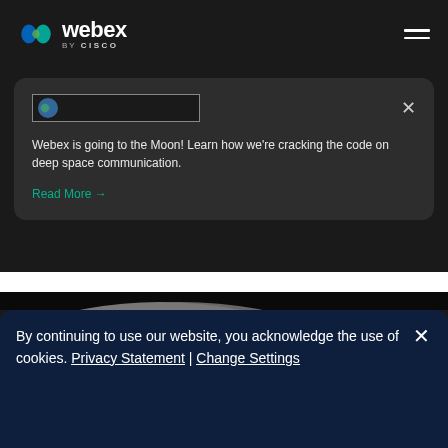webex by CISCO
[Figure (screenshot): Webex notification card with image placeholder and close button, dark rounded card on dark background]
Webex is going to the Moon! Learn how we're cracking the code on deep space communication.
Read More →
[Figure (photo): Partial view of the Moon's surface - grey cratered terrain on left, black starfield on right]
By continuing to use our website, you acknowledge the use of cookies. Privacy Statement | Change Settings